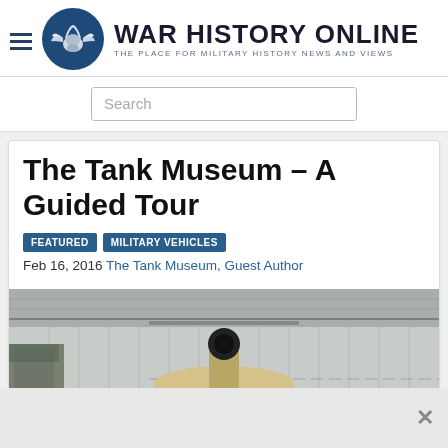[Figure (logo): War History Online logo: hamburger menu icon, circular blue emblem with winged helmet, large bold text 'WAR HISTORY ONLINE', subtitle 'THE PLACE FOR MILITARY HISTORY NEWS AND VIEWS']
[Figure (screenshot): Search bar with placeholder text 'Search']
The Tank Museum – A Guided Tour
FEATURED
MILITARY VEHICLES
Feb 16, 2016 The Tank Museum, Guest Author
[Figure (photo): Interior of a museum hangar with a desert-tan colored tank (turret and gun barrel visible) in the foreground, metal paneled walls and ceiling in background]